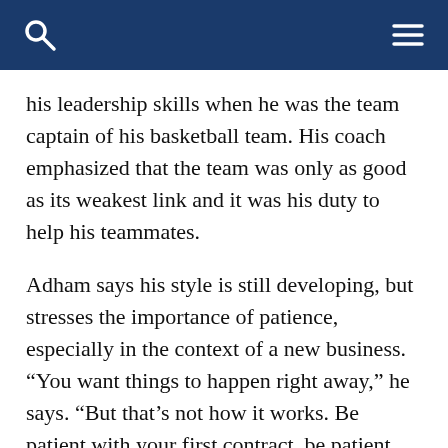his leadership skills when he was the team captain of his basketball team. His coach emphasized that the team was only as good as its weakest link and it was his duty to help his teammates.
Adham says his style is still developing, but stresses the importance of patience, especially in the context of a new business. “You want things to happen right away,” he says. “But that’s not how it works. Be patient with your first contract, be patient with your team, be patient with everything. That’s something I admire about my dad, his patience and his diplomacy.”